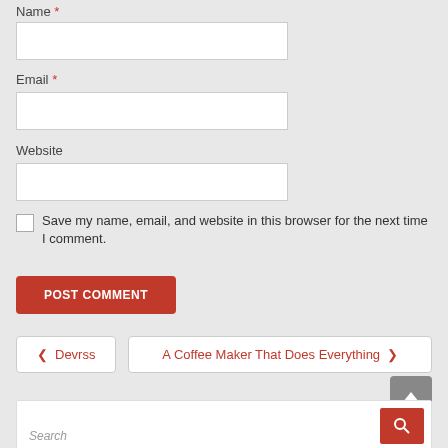Name *
[Figure (screenshot): Text input field for Name]
Email *
[Figure (screenshot): Text input field for Email]
Website
[Figure (screenshot): Text input field for Website]
Save my name, email, and website in this browser for the next time I comment.
POST COMMENT
< Devrss
A Coffee Maker That Does Everything >
Search